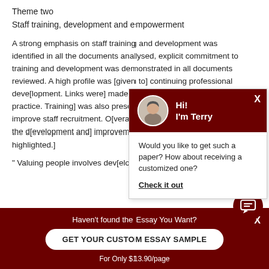Theme two
Staff training, development and empowerment
A strong emphasis on staff training and development was identified in all the documents analysed, explicit commitment to training and development was demonstrated in all documents reviewed. A high profile was [given to] continuing professional deve[lopment. Links were] made between education an[d practice. Training] was also presented as creati[ng... helping to] improve staff recruitment. O[verall, staff] engagement in shaping the d[evelopment and] improvements in patient care [were highlighted.]
" Valuing people involves dev[eloping] education, training [and...]
[Figure (screenshot): Chat popup with avatar of Terry. Header dark red with 'Hi! I'm Terry'. Body text: 'Would you like to get such a paper? How about receiving a customized one? Check it out']
Haven't found the Essay You Want? GET YOUR CUSTOM ESSAY SAMPLE For Only $13.90/page